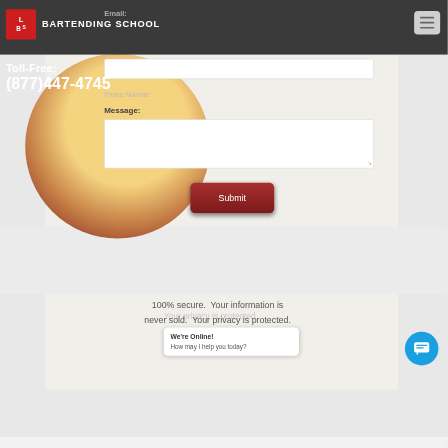[Figure (screenshot): LBS Bartending School website screenshot showing navigation header with logo, toll-free number overlay, contact form with Email and Message fields, Submit button, security notice, and live chat popup.]
LBS BARTENDING SCHOOL | Toll-Free: (877)447-4745
Email:
Message:
Submit
100% secure.  Your information is never sold.  Your privacy is protected.
We're Online!
How may I help you today?